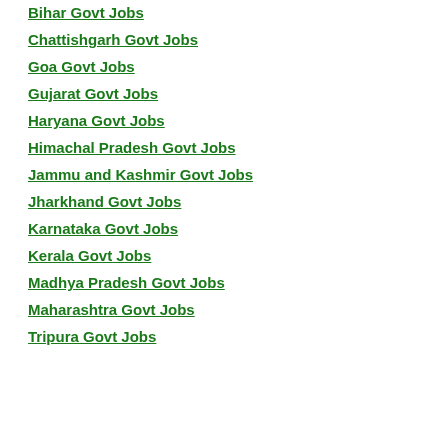Bihar Govt Jobs
Chattishgarh Govt Jobs
Goa Govt Jobs
Gujarat Govt Jobs
Haryana Govt Jobs
Himachal Pradesh Govt Jobs
Jammu and Kashmir Govt Jobs
Jharkhand Govt Jobs
Karnataka Govt Jobs
Kerala Govt Jobs
Madhya Pradesh Govt Jobs
Maharashtra Govt Jobs
Tripura Govt Jobs